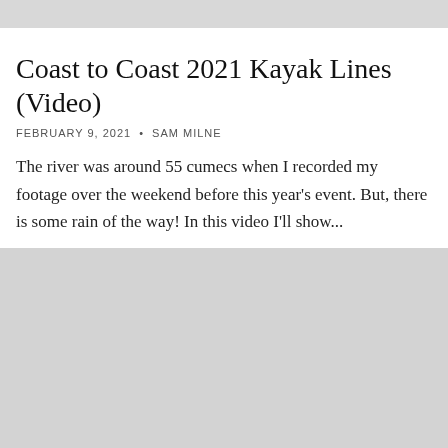[Figure (photo): Gray placeholder image bar at top of page]
Coast to Coast 2021 Kayak Lines (Video)
FEBRUARY 9, 2021  •  SAM MILNE
The river was around 55 cumecs when I recorded my footage over the weekend before this year's event. But, there is some rain of the way! In this video I'll show...
3 comments
[Figure (photo): Large gray placeholder image block at bottom of page]